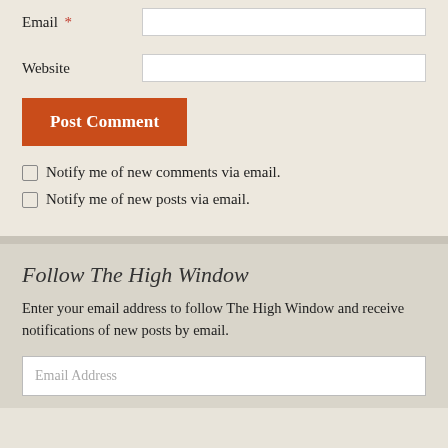Email *
Website
Post Comment
Notify me of new comments via email.
Notify me of new posts via email.
Follow The High Window
Enter your email address to follow The High Window and receive notifications of new posts by email.
Email Address